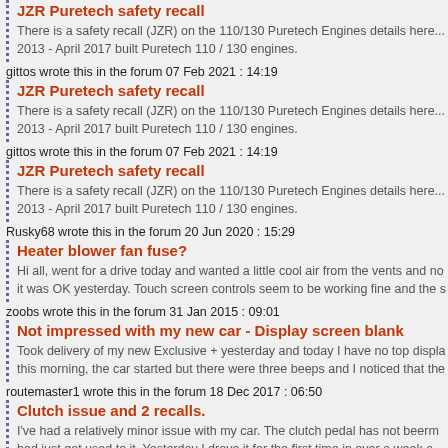JZR Puretech safety recall
There is a safety recall (JZR) on the 110/130 Puretech Engines details here... 2013 - April 2017 built Puretech 110 / 130 engines.
gittos wrote this in the forum 07 Feb 2021 : 14:19
JZR Puretech safety recall
There is a safety recall (JZR) on the 110/130 Puretech Engines details here... 2013 - April 2017 built Puretech 110 / 130 engines.
gittos wrote this in the forum 07 Feb 2021 : 14:19
JZR Puretech safety recall
There is a safety recall (JZR) on the 110/130 Puretech Engines details here... 2013 - April 2017 built Puretech 110 / 130 engines.
Rusky68 wrote this in the forum 20 Jun 2020 : 15:29
Heater blower fan fuse?
Hi all, went for a drive today and wanted a little cool air from the vents and no... it was OK yesterday. Touch screen controls seem to be working fine and the s...
zoobs wrote this in the forum 31 Jan 2015 : 09:01
Not impressed with my new car - Display screen blank
Took delivery of my new Exclusive + yesterday and today I have no top displa... this morning, the car started but there were three beeps and I noticed that the...
routemaster1 wrote this in the forum 18 Dec 2017 : 06:50
Clutch issue and 2 recalls.
I've had a relatively minor issue with my car. The clutch pedal has not beerm... had just got used to it. Yesterday I drove it for the first time in over a week a...